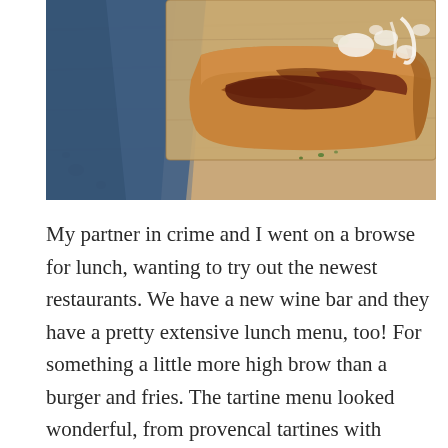[Figure (photo): Close-up food photograph of an open-faced sandwich (tartine) with roast beef and blue cheese on a wooden cutting board, with a blue cloth napkin in the background]
My partner in crime and I went on a browse for lunch, wanting to try out the newest restaurants. We have a new wine bar and they have a pretty extensive lunch menu, too! For something a little more high brow than a burger and fries. The tartine menu looked wonderful, from provencal tartines with chicken and olives, to this roast beef and blue cheese tartine. So yes, naturally we had to get them…